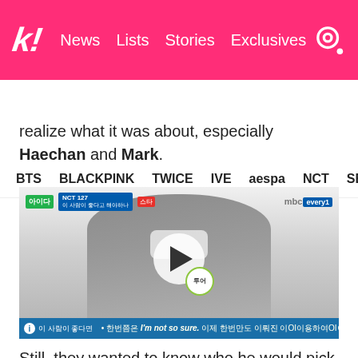k! News Lists Stories Exclusives
BTS BLACKPINK TWICE IVE aespa NCT SEVE
realize what it was about, especially Haechan and Mark.
[Figure (screenshot): Video screenshot of a Korean TV show featuring an NCT 127 member wearing a mask, with a play button overlay. Bottom bar shows subtitle: 'I'm not so sure.']
Still, they wanted to know who he would pick and let him continue. To narrow it down